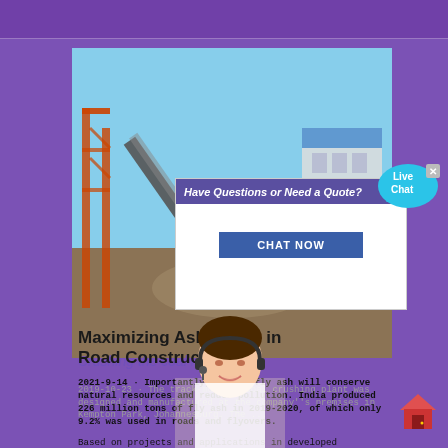[Figure (photo): Industrial coal crushing plant facility with conveyor belts and steel structures against a blue sky background]
[Figure (screenshot): Popup chat window with header 'Have Questions or Need a Quote?', a customer service representative photo, CHAT NOW button, and a Live Chat speech bubble icon in the top right corner]
Maximizing Ash Usage in Road Construction
Crushing the coal market
2021-9-14 · Importantly, use of fly ash will conserve natural resources and reduce pollution. India produced 226 million tons of fly ash in 2019-2020, of which only 9.2% was used in roads and flyovers.
2019-10-23 · The track-mounted coal crushing plant was designed and manufactured at the company''s premises in Kempton Park, Johannesburg. The ...
Based on projects and applications in developed